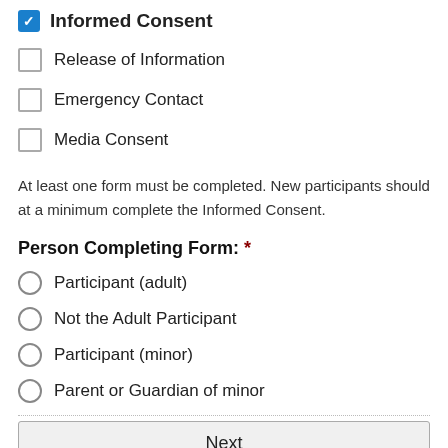Informed Consent
Release of Information
Emergency Contact
Media Consent
At least one form must be completed. New participants should at a minimum complete the Informed Consent.
Person Completing Form: *
Participant (adult)
Not the Adult Participant
Participant (minor)
Parent or Guardian of minor
Next